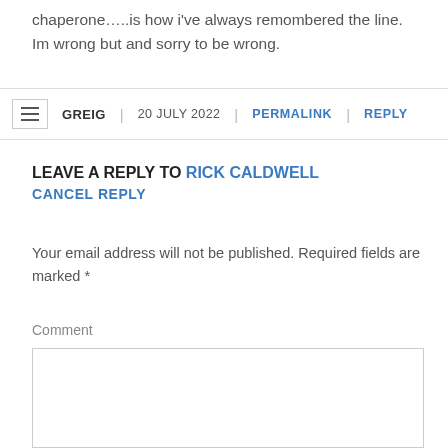chaperone…..is how i've always remombered the line. Im wrong but and sorry to be wrong.
GREIG | 20 JULY 2022 | PERMALINK | REPLY
LEAVE A REPLY TO RICK CALDWELL CANCEL REPLY
Your email address will not be published. Required fields are marked *
Comment